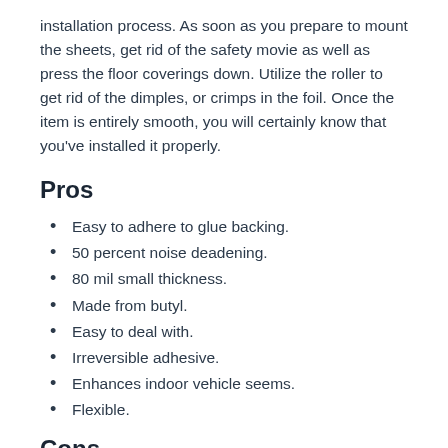installation process. As soon as you prepare to mount the sheets, get rid of the safety movie as well as press the floor coverings down. Utilize the roller to get rid of the dimples, or crimps in the foil. Once the item is entirely smooth, you will certainly know that you've installed it properly.
Pros
Easy to adhere to glue backing.
50 percent noise deadening.
80 mil small thickness.
Made from butyl.
Easy to deal with.
Irreversible adhesive.
Enhances indoor vehicle seems.
Flexible.
Cons